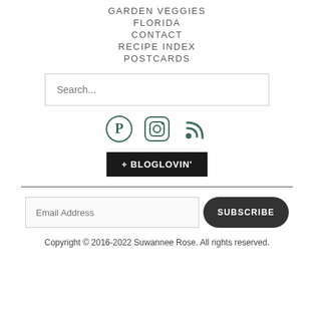GARDEN VEGGIES
FLORIDA
CONTACT
RECIPE INDEX
POSTCARDS
[Figure (other): Search input box with placeholder text 'Search...']
[Figure (other): Social media icons: Pinterest, Instagram, RSS feed, and Bloglovin button]
[Figure (other): Email subscribe input and Subscribe button]
Copyright © 2016-2022 Suwannee Rose. All rights reserved.